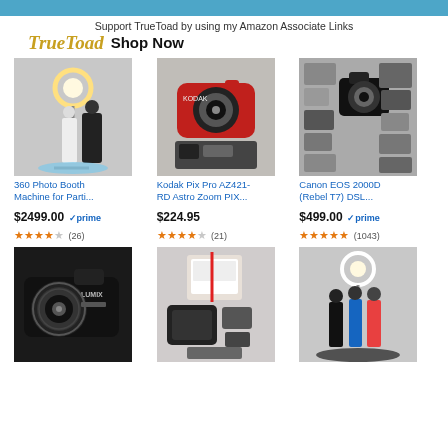Support TrueToad by using my Amazon Associate Links
TrueToad Shop Now
[Figure (photo): 360 Photo Booth Machine with ring light and couple posing]
360 Photo Booth Machine for Parti...
$2499.00 prime ★★★★☆ (26)
[Figure (photo): Kodak Pix Pro AZ421-RD red bridge camera with accessories]
Kodak Pix Pro AZ421-RD Astro Zoom PIX...
$224.95 ★★★★☆ (21)
[Figure (photo): Canon EOS 2000D DSLR camera with many accessories laid out]
Canon EOS 2000D (Rebel T7) DSL...
$499.00 prime ★★★★★ (1043)
[Figure (photo): Panasonic Lumix large zoom camera]
[Figure (photo): Canon photo printer/printer bundle with accessories]
[Figure (photo): 360 Photo Booth Machine with three women posing]